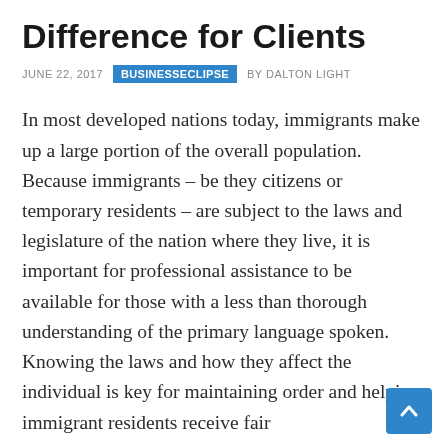Difference for Clients
JUNE 22, 2017   BUSINESSECLIPSE   BY DALTON LIGHT
In most developed nations today, immigrants make up a large portion of the overall population. Because immigrants – be they citizens or temporary residents – are subject to the laws and legislature of the nation where they live, it is important for professional assistance to be available for those with a less than thorough understanding of the primary language spoken. Knowing the laws and how they affect the individual is key for maintaining order and helping immigrant residents receive fair